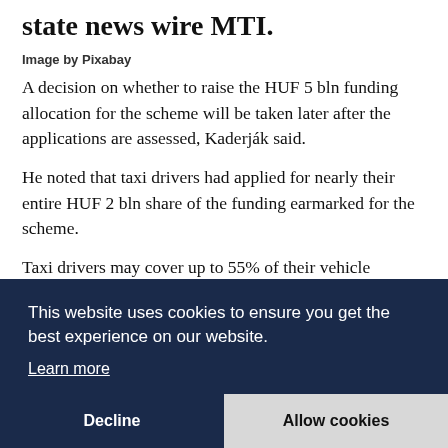...Kaderján said, according to a report by state news wire MTI.
Image by Pixabay
A decision on whether to raise the HUF 5 bln funding allocation for the scheme will be taken later after the applications are assessed, Kaderják said.
He noted that taxi drivers had applied for nearly their entire HUF 2 bln share of the funding earmarked for the scheme.
Taxi drivers may cover up to 55% of their vehicle p...
S... H... a... s...
This website uses cookies to ensure you get the best experience on our website.
Learn more
Decline
Allow cookies